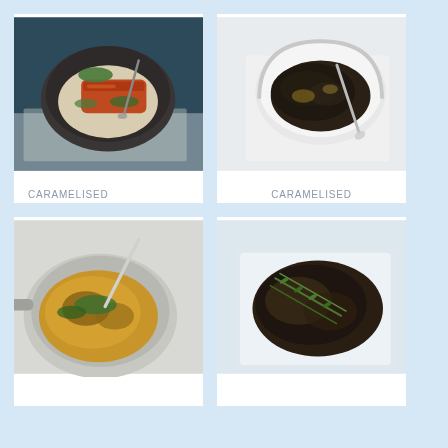[Figure (photo): Caramelised lemongrass salmon with coconut rice in a dark bowl with herbs and spoon]
CARAMELISED LEMONGRASS SALMON WITH COCONUT RICE
[Figure (photo): Caramelised onion in a white round Dutch oven with a spoon]
CARAMELISED ONION
[Figure (photo): A pan with a caramelised dish garnished with herbs, partially visible at bottom]
[Figure (photo): A baking tray with caramelised meat and rosemary herbs, partially visible at bottom]